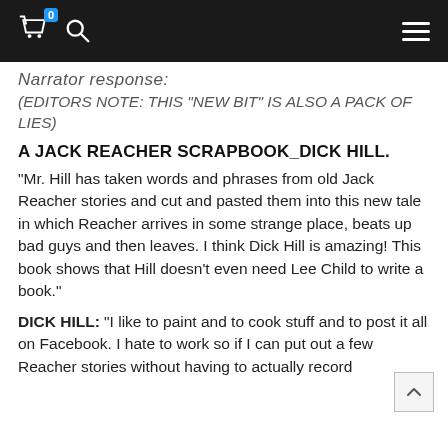0 [cart] [search] [menu]
Narrator response:
(EDITORS NOTE: THIS "NEW BIT" IS ALSO A PACK OF LIES)
A JACK REACHER SCRAPBOOK_DICK HILL.
“Mr. Hill has taken words and phrases from old Jack Reacher stories and cut and pasted them into this new tale in which Reacher arrives in some strange place, beats up bad guys and then leaves. I think Dick Hill is amazing! This book shows that Hill doesn’t even need Lee Child to write a book.”
DICK HILL: “I like to paint and to cook stuff and to post it all on Facebook. I hate to work so if I can put out a few Reacher stories without having to actually record